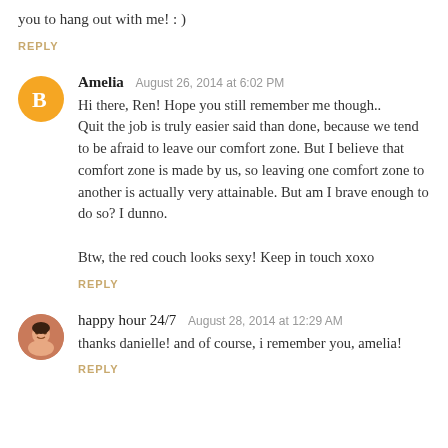you to hang out with me! : )
REPLY
Amelia  August 26, 2014 at 6:02 PM
Hi there, Ren! Hope you still remember me though..
Quit the job is truly easier said than done, because we tend to be afraid to leave our comfort zone. But I believe that comfort zone is made by us, so leaving one comfort zone to another is actually very attainable. But am I brave enough to do so? I dunno.

Btw, the red couch looks sexy! Keep in touch xoxo
REPLY
happy hour 24/7  August 28, 2014 at 12:29 AM
thanks danielle! and of course, i remember you, amelia!
REPLY